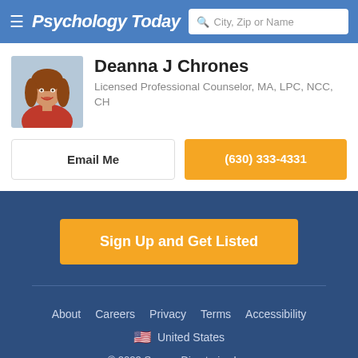Psychology Today | City, Zip or Name search
Deanna J Chrones
Licensed Professional Counselor, MA, LPC, NCC, CH
Email Me
(630) 333-4331
Sign Up and Get Listed
About  Careers  Privacy  Terms  Accessibility  United States  © 2022 Sussex Directories Inc.